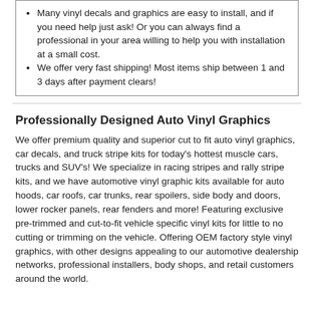Many vinyl decals and graphics are easy to install, and if you need help just ask! Or you can always find a professional in your area willing to help you with installation at a small cost.
We offer very fast shipping! Most items ship between 1 and 3 days after payment clears!
Professionally Designed Auto Vinyl Graphics
We offer premium quality and superior cut to fit auto vinyl graphics, car decals, and truck stripe kits for today's hottest muscle cars, trucks and SUV's! We specialize in racing stripes and rally stripe kits, and we have automotive vinyl graphic kits available for auto hoods, car roofs, car trunks, rear spoilers, side body and doors, lower rocker panels, rear fenders and more! Featuring exclusive pre-trimmed and cut-to-fit vehicle specific vinyl kits for little to no cutting or trimming on the vehicle. Offering OEM factory style vinyl graphics, with other designs appealing to our automotive dealership networks, professional installers, body shops, and retail customers around the world.